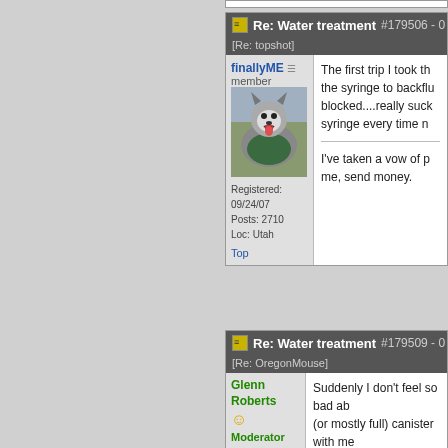Re: Water treatment #179506
[Re: topshot]
finallyME
member
Registered: 09/24/07
Posts: 2710
Loc: Utah
The first trip I took th... the syringe to backflu... blocked....really suck... syringe every time n...

I've taken a vow of p... me, send money.
Re: Water treatment #179509
[Re: OregonMouse]
Glenn Roberts
Moderator
Registered: 12/23/08
Posts:
Suddenly I don't feel so bad ab... (or mostly full) canister with me...